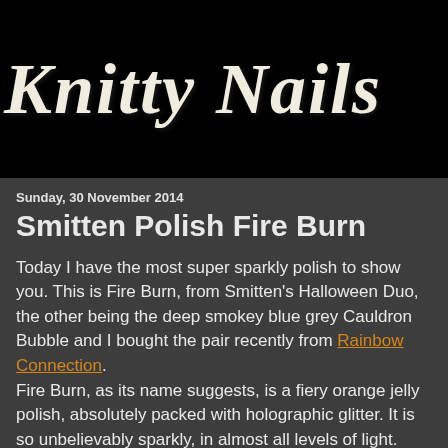[Figure (logo): Knitty Nails blog header banner with decorative white text on black background]
Sunday, 30 November 2014
Smitten Polish Fire Burn
Today I have the most super sparkly polish to show you. This is Fire Burn, from Smitten's Halloween Duo, the other being the deep smokey blue grey Cauldron Bubble and I bought the pair recently from Rainbow Connection. Fire Burn, as its name suggests, is a fiery orange jelly polish, absolutely packed with holographic glitter. It is so unbelievably sparkly, in almost all levels of light. As this is a jelly I did use 3 coats for full coverage, 2 was almost enough but I could just make out the nail line and